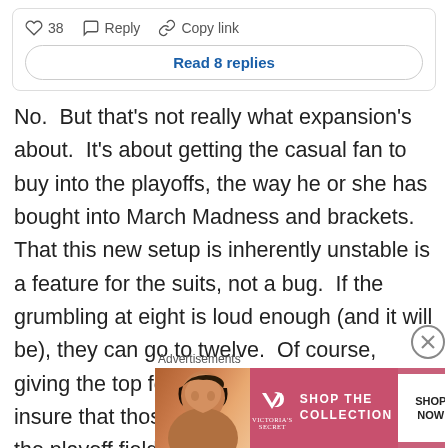♡ 38  Reply  Copy link
Read 8 replies
No.  But that's not really what expansion's about.  It's about getting the casual fan to buy into the playoffs, the way he or she has bought into March Madness and brackets.  That this new setup is inherently unstable is a feature for the suits, not a bug.  If the grumbling at eight is loud enough (and it will be), they can go to twelve.  Of course, giving the top four seeds a bye is only going insure that those top four seeds dominate the playoff field, so the only way to fix that will be to go to sixteen, which is where I see things headed.
Advertisements
[Figure (photo): Victoria's Secret advertisement banner with a model on the left, VS logo in the center, 'SHOP THE COLLECTION' text, and 'SHOP NOW' button on the right.]